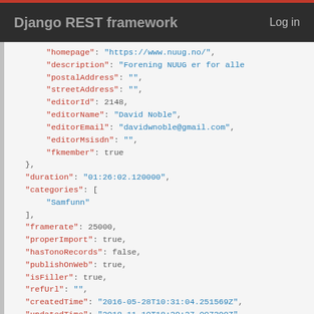Django REST framework    Log in
JSON code block showing API response fields: homepage, description, postalAddress, streetAddress, editorId, editorName, editorEmail, editorMsisdn, fkmember, duration, categories, framerate, properImport, hasTonoRecords, publishOnWeb, isFiller, refUrl, createdTime, updatedTime, uploadedTime